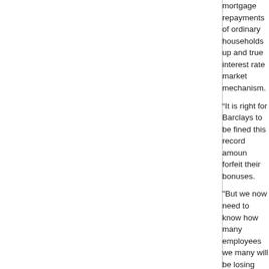mortgage repayments of ordinary households up and true interest rate market mechanism.
“It is right for Barclays to be fined this record amount forfeit their bonuses.
"But we now need to know how many employees we many will be losing their jobs as a result, and wheth regulators and into a criminal investigation."
Lib Dem peer Lord Oakeshott, a close ally of Busine night Mr Diamond must go.
“The whole City knew Barclays Capital under Bob D were loading the dice,” he said.
“If Bob Diamond had a scintilla of shame he would r inch of backbone between them they will sack him a clean out the cesspit.
“He’s got to go and Barclays must be broken up – it times.”
Libor is used to price £200trillion of financial produc shape by appearing to be paying less than it was fo predictions come true.
During some periods, Barclays put out false informa
Mr Diamond’s 2011 bonus was £2.7million. Last yea shares and perks. Several other senior executives w
The fines come at the end of a long US and UK pro